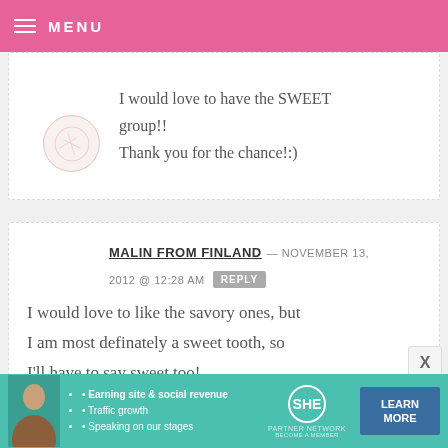MENU
I would love to have the SWEET group!!
Thank you for the chance!:)
MALIN FROM FINLAND — NOVEMBER 13, 2012 @ 12:28 AM  REPLY
I would love to like the savory ones, but I am most definately a sweet tooth, so I'll have to say sweet too!
[Figure (infographic): SHE Partner Network advertisement banner with photo, bullet points, logo and Learn More button]